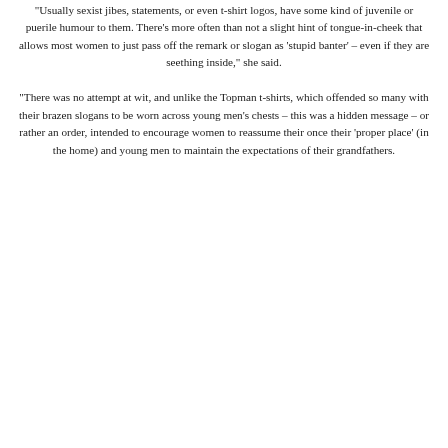"Usually sexist jibes, statements, or even t-shirt logos, have some kind of juvenile or puerile humour to them. There’s more often than not a slight hint of tongue-in-cheek that allows most women to just pass off the remark or slogan as ‘stupid banter’ – even if they are seething inside," she said.
"There was no attempt at wit, and unlike the Topman t-shirts, which offended so many with their brazen slogans to be worn across young men’s chests – this was a hidden message – or rather an order, intended to encourage women to reassume their once their ‘proper place’ (in the home) and young men to maintain the expectations of their grandfathers.